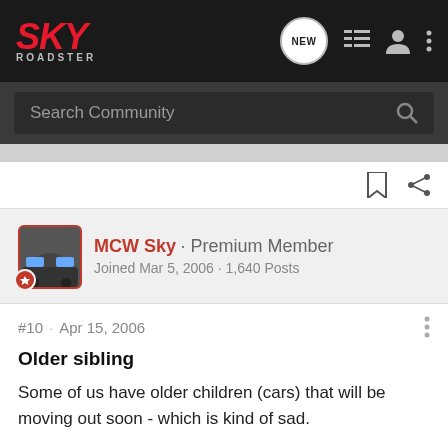SKY ROADSTER
Search Community
MCW Sky · Premium Member
Joined Mar 5, 2006 · 1,640 Posts
#10 · Apr 15, 2006
Older sibling
Some of us have older children (cars) that will be moving out soon - which is kind of sad.
Some of our new babies will get a few bumps and brusies along the way and maybe even get into some trouble with the law -